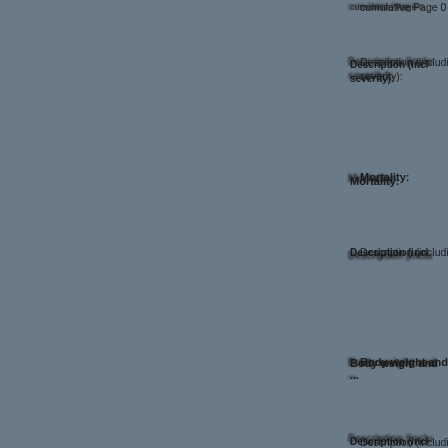cumulative Page 0
Description (including route and
severity):
Mortality:
Description (including
Body weight and ...
Description (including route and
severity):
Food consumption / intake of feeding:
Description (including route and
severity):
Water consumption / intake of drinking:
Description (including